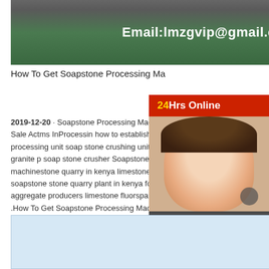[Figure (photo): Industrial facility interior with green floor, machinery visible, email overlay text: Email:lmzgvip@gmail.com]
How To Get Soapstone Processing Machinery
2019-12-20 · Soapstone Processing Machinery For Sale Actms InProcessin how to established soapstone processing unit soap stone crushing unit sta granite p soap stone crusher Soapstone grin machinestone quarry in kenya limestone flu soapstone stone quarry plant in kenya for sa aggregate producers limestone fluorspar soa .How To Get Soapstone Processing Machine 7-20 · how to get soapstone processing ma Soapstone process to talc coal processing s machinefind the right and the la mill talc soa processing plant machines for talc processing for get more info the mining of talc and soapstone soapstone process to talc 84 views the SKD is the professional mining equipments manufacturer in the
[Figure (infographic): Chat widget with 24Hrs Online header in red, woman with headset avatar, Need questions & suggestion? text box in dark grey, Chat Now button in red]
[Figure (photo): Partial image at bottom of page, light blue/grey tones]